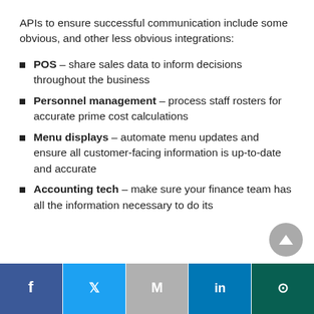APIs to ensure successful communication include some obvious, and other less obvious integrations:
POS – share sales data to inform decisions throughout the business
Personnel management – process staff rosters for accurate prime cost calculations
Menu displays – automate menu updates and ensure all customer-facing information is up-to-date and accurate
Accounting tech – make sure your finance team has all the information necessary to do its
Facebook | Twitter | Gmail | LinkedIn | WhatsApp